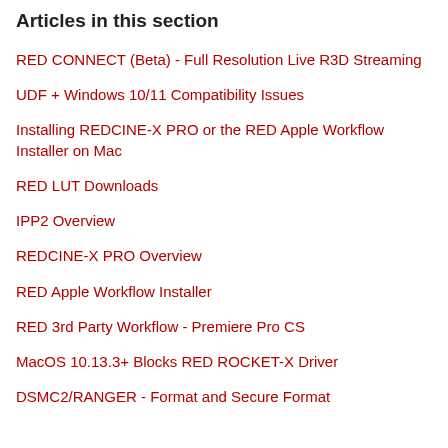Articles in this section
RED CONNECT (Beta) - Full Resolution Live R3D Streaming
UDF + Windows 10/11 Compatibility Issues
Installing REDCINE-X PRO or the RED Apple Workflow Installer on Mac
RED LUT Downloads
IPP2 Overview
REDCINE-X PRO Overview
RED Apple Workflow Installer
RED 3rd Party Workflow - Premiere Pro CS
MacOS 10.13.3+ Blocks RED ROCKET-X Driver
DSMC2/RANGER - Format and Secure Format